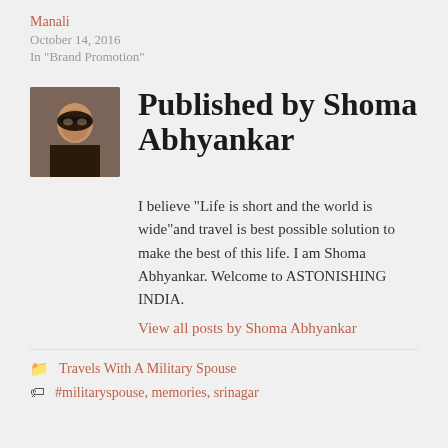Manali
October 14, 2016
In "Brand Promotion"
[Figure (photo): Profile photo of Shoma Abhyankar, a woman wearing sunglasses]
Published by Shoma Abhyankar
I believe "Life is short and the world is wide"and travel is best possible solution to make the best of this life. I am Shoma Abhyankar. Welcome to ASTONISHING INDIA.
View all posts by Shoma Abhyankar
Travels With A Military Spouse
#militaryspouse, memories, srinagar